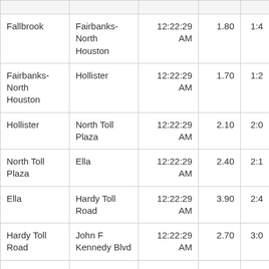| From | To | Time | Distance | Duration |
| --- | --- | --- | --- | --- |
| Fallbrook | Fairbanks-North Houston | 12:22:29 AM | 1.80 | 1:4… |
| Fairbanks-North Houston | Hollister | 12:22:29 AM | 1.70 | 1:2… |
| Hollister | North Toll Plaza | 12:22:29 AM | 2.10 | 2:0… |
| North Toll Plaza | Ella | 12:22:29 AM | 2.40 | 2:1… |
| Ella | Hardy Toll Road | 12:22:29 AM | 3.90 | 2:4… |
| Hardy Toll Road | John F Kennedy Blvd | 12:22:29 AM | 2.70 | 3:0… |
| John F Kennedy Blvd | Wilson Rd | 12:22:29 AM | 3.80 | 3:3… |